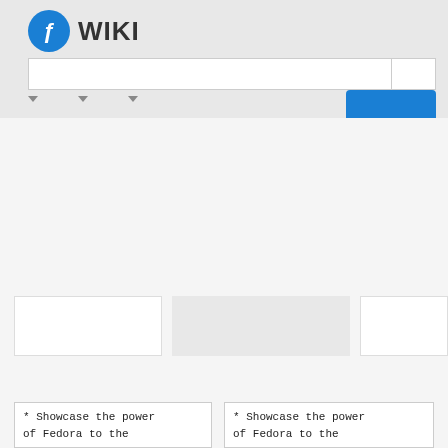[Figure (logo): Fedora Wiki logo with blue circle Fedora icon and bold WIKI text]
[Figure (screenshot): Search input bar with two fields]
[Figure (screenshot): Navigation dropdowns and blue button bar]
[Figure (screenshot): Gray main content area with white and gray boxes]
* Showcase the power of Fedora to the
* Showcase the power of Fedora to the